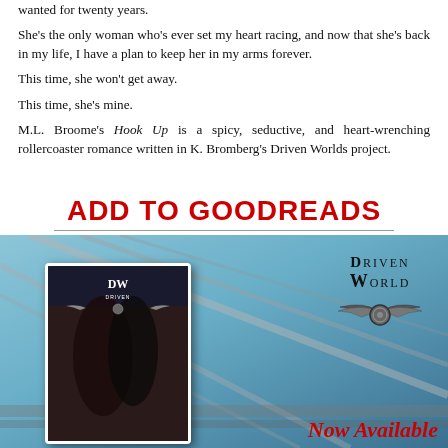wanted for twenty years.
She's the only woman who's ever set my heart racing, and now that she's back in my life, I have a plan to keep her in my arms forever.
This time, she won't get away.
This time, she's mine.
M.L. Broome's Hook Up is a spicy, seductive, and heart-wrenching rollercoaster romance written in K. Bromberg's Driven Worlds project.
ADD TO GOODREADS
[Figure (illustration): Book promotional image with a blue-toned background showing bridge architecture. Features a tablet displaying the book cover with a couple embracing, Driven World logo in upper right with wings emblem, and 'Now Available' text in red script at bottom right.]